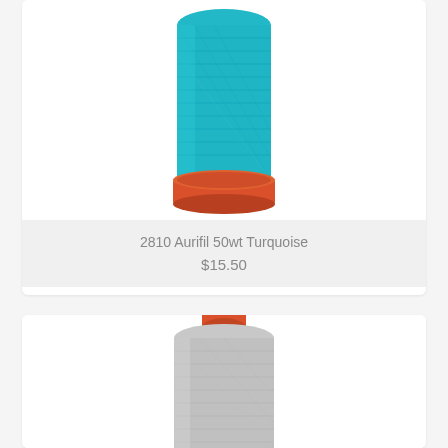[Figure (photo): Turquoise/teal thread spool (Aurifil 50wt) with orange base, viewed from slight angle showing wound thread]
2810 Aurifil 50wt Turquoise
$15.50
[Figure (photo): Light gray/silver thread spool (Aurifil) with orange top cap, viewed from slight angle showing wound thread]